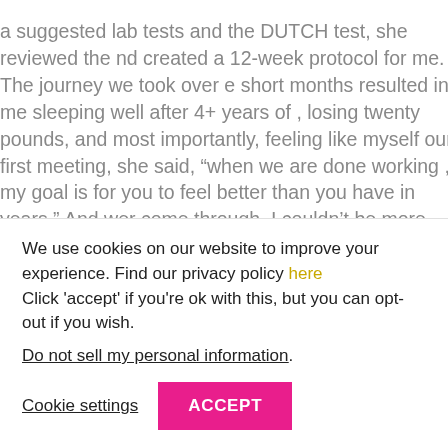a suggested lab tests and the DUTCH test, she reviewed the nd created a 12-week protocol for me. The journey we took over e short months resulted in me sleeping well after 4+ years of , losing twenty pounds, and most importantly, feeling like myself our first meeting, she said, “when we are done working , my goal is for you to feel better than you have in years.” And wer come through. I couldn’t be more grateful to Tara for ne get here. Thank you for saving my life, my marriage, my nd for allowing me to finally find joy in motherhood.
[Figure (illustration): Partial arc/circle shape in olive/yellow-green color, visible as the top half of a circle peeking up from below the text area]
We use cookies on our website to improve your experience. Find our privacy policy here Click 'accept' if you're ok with this, but you can opt-out if you wish.
Do not sell my personal information.
Cookie settings
ACCEPT